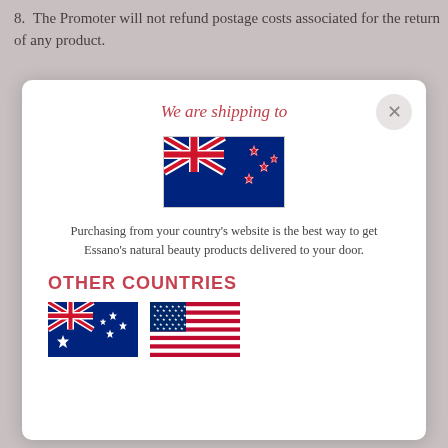8. The Promoter will not refund postage costs associated for the return of any product.
We are shipping to
[Figure (illustration): New Zealand flag — blue background with Union Jack in the top-left corner and four red stars with white borders arranged on the right side.]
Purchasing from your country's website is the best way to get Essano's natural beauty products delivered to your door.
OTHER COUNTRIES
[Figure (illustration): Australian flag — blue background with Union Jack in the top-left, Commonwealth star below, and Southern Cross on the right.]
[Figure (illustration): United States flag — red and white horizontal stripes with blue canton containing white stars.]